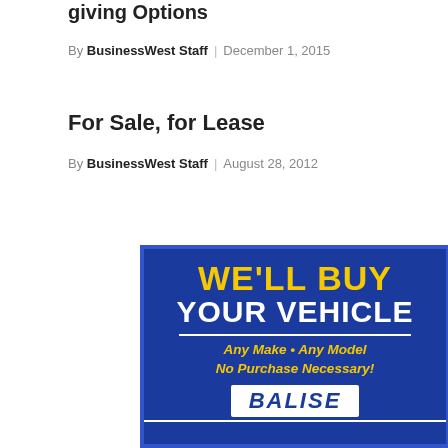giving Options
By BusinessWest Staff | December 1, 2015
For Sale, for Lease
By BusinessWest Staff | August 28, 2012
[Figure (illustration): Advertisement for Balise car dealership with blue background and yellow text reading: WE'LL BUY YOUR VEHICLE. Any Make • Any Model No Purchase Necessary! BALISE]